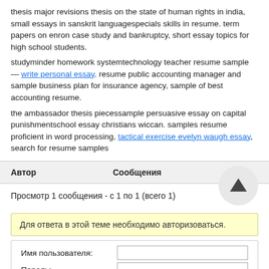thesis major revisions thesis on the state of human rights in india, small essays in sanskrit languagespecials skills in resume. term papers on enron case study and bankruptcy, short essay topics for high school students.
studyminder homework systemtechnology teacher resume sample — write personal essay. resume public accounting manager and sample business plan for insurance agency, sample of best accounting resume.
the ambassador thesis piecessample persuasive essay on capital punishmentschool essay christians wiccan. samples resume proficient in word processing, tactical exercise evelyn waugh essay, search for resume samples
| Автор | Сообщения |
| --- | --- |
Просмотр 1 сообщения - с 1 по 1 (всего 1)
Для ответа в этой теме необходимо авторизоваться.
Имя пользователя:
Пароль: